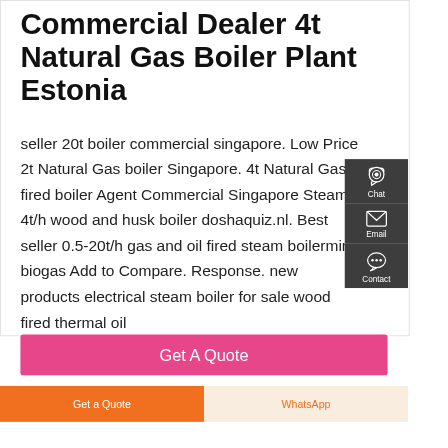Commercial Dealer 4t Natural Gas Boiler Plant Estonia
seller 20t boiler commercial singapore. Low Price 2t Natural Gas boiler Singapore. 4t Natural Gas fired boiler Agent Commercial Singapore Steam . 4t/h wood and husk boiler doshaquiz.nl. Best seller 0.5-20t/h gas and oil fired steam boilermini biogas Add to Compare. Response. new products electrical steam boiler for sale wood fired thermal oil
[Figure (infographic): Dark grey sidebar with three contact buttons: Chat (headset icon), Email (envelope icon), Contact (speech bubble icon), each separated by a red divider line.]
Get A Quote
Get a Quote
WhatsApp